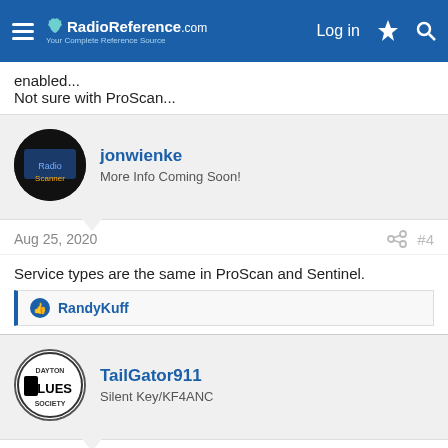RadioReference.com — Log in
enabled...
Not sure with ProScan...
jonwienke
More Info Coming Soon!
Aug 25, 2020  #4
Service types are the same in ProScan and Sentinel.
RandyKuff
TailGator911
Silent Key/KF4ANC
Aug 25, 2020  #5
Check and recheck all of your programming particulars -